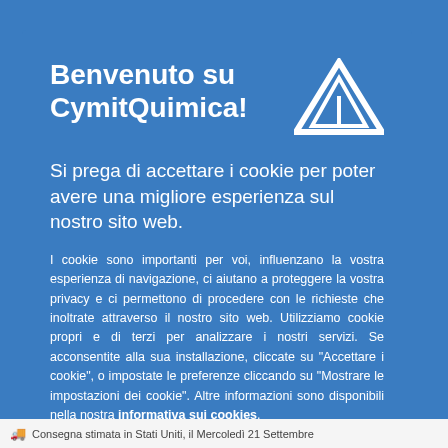Benvenuto su CymitQuimica!
Si prega di accettare i cookie per poter avere una migliore esperienza sul nostro sito web.
I cookie sono importanti per voi, influenzano la vostra esperienza di navigazione, ci aiutano a proteggere la vostra privacy e ci permettono di procedere con le richieste che inoltrate attraverso il nostro sito web. Utilizziamo cookie propri e di terzi per analizzare i nostri servizi. Se acconsentite alla sua installazione, cliccate su "Accettare i cookie", o impostate le preferenze cliccando su "Mostrare le impostazioni dei cookie". Altre informazioni sono disponibili nella nostra informativa sui cookies.
[Figure (logo): CymitQuimica logo: white geometric triangle/pyramid shape]
Accettare i cookie
Consegna stimata in Stati Uniti, il Mercoledì 21 Settembre